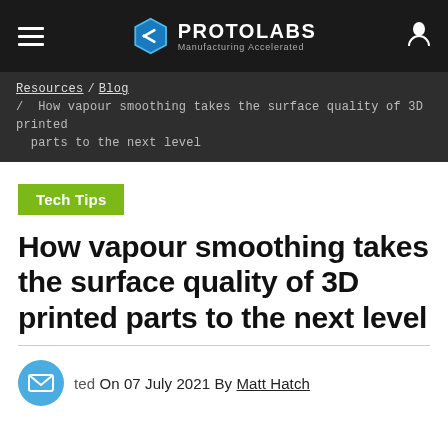PROTOLABS Manufacturing Accelerated
Resources / Blog / How vapour smoothing takes the surface quality of 3D printed parts to the next level
Tech Tips
How vapour smoothing takes the surface quality of 3D printed parts to the next level
Posted On 07 July 2021 By Matt Hatch